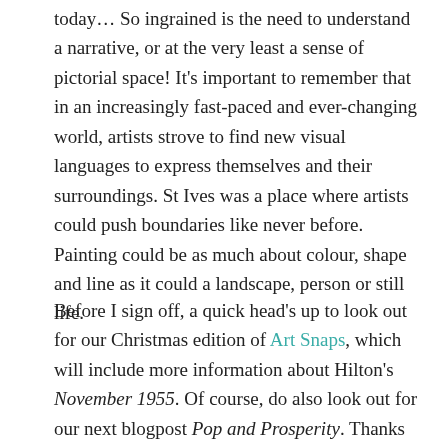today... So ingrained is the need to understand a narrative, or at the very least a sense of pictorial space! It's important to remember that in an increasingly fast-paced and ever-changing world, artists strove to find new visual languages to express themselves and their surroundings. St Ives was a place where artists could push boundaries like never before. Painting could be as much about colour, shape and line as it could a landscape, person or still life.
Before I sign off, a quick head's up to look out for our Christmas edition of Art Snaps, which will include more information about Hilton's November 1955. Of course, do also look out for our next blogpost Pop and Prosperity. Thanks